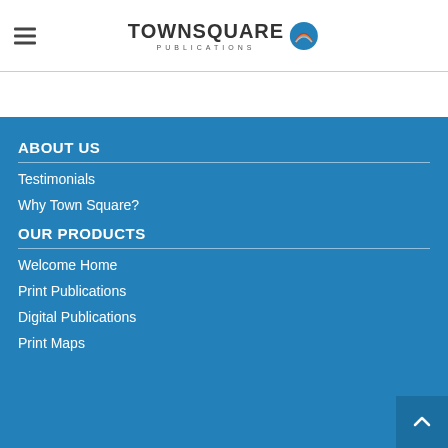TownSquare Publications
ABOUT US
Testimonials
Why Town Square?
OUR PRODUCTS
Welcome Home
Print Publications
Digital Publications
Print Maps